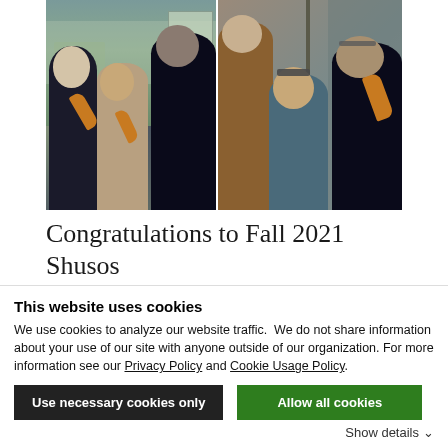[Figure (photo): Group photograph of six people wearing Buddhist robes (Zen monk attire), some holding orange ceremonial fans. Split into two photo panels showing three people each.]
Congratulations to Fall 2021 Shusos
This website uses cookies
We use cookies to analyze our website traffic.  We do not share information about your use of our site with anyone outside of our organization. For more information see our Privacy Policy and Cookie Usage Policy.
Use necessary cookies only
Allow all cookies
Show details